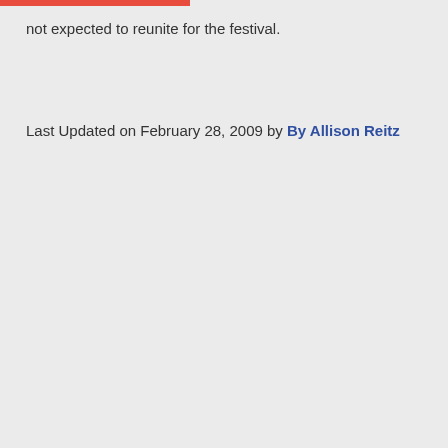not expected to reunite for the festival.
Last Updated on February 28, 2009 by By Allison Reitz